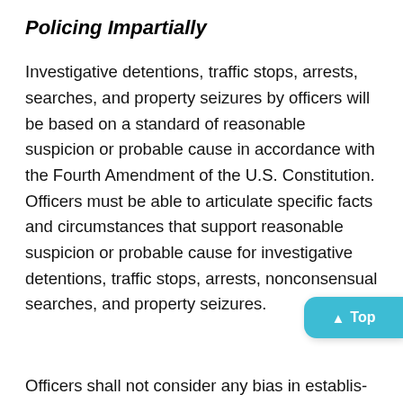Policing Impartially
Investigative detentions, traffic stops, arrests, searches, and property seizures by officers will be based on a standard of reasonable suspicion or probable cause in accordance with the Fourth Amendment of the U.S. Constitution. Officers must be able to articulate specific facts and circumstances that support reasonable suspicion or probable cause for investigative detentions, traffic stops, arrests, nonconsensual searches, and property seizures.
Officers shall not consider any bias in establishing either reasonable suspicion or probable cause. Similarly, except as provided in this policy, officers shall not consider race, ethnicity, or human